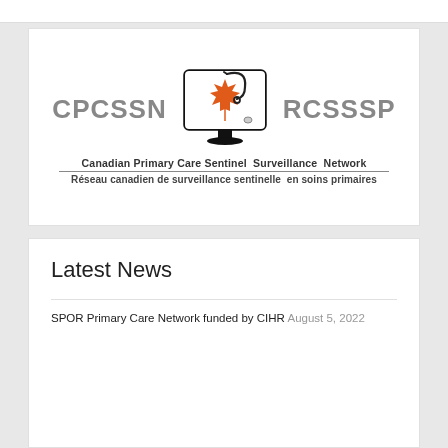[Figure (logo): CPCSSN / RCSSSP logo featuring a computer monitor with an orange maple leaf and stethoscope, with text 'Canadian Primary Care Sentinel Surveillance Network / Réseau canadien de surveillance sentinelle en soins primaires']
Latest News
SPOR Primary Care Network funded by CIHR August 5, 2022